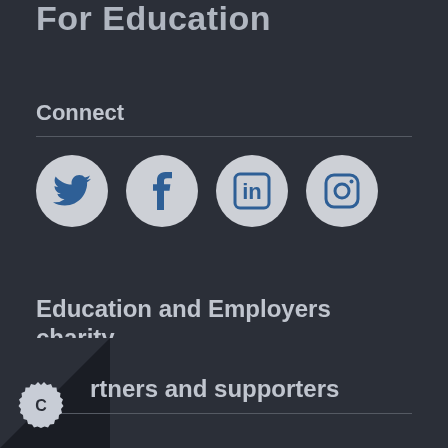For Education
Connect
[Figure (illustration): Four social media icons in gray circles: Twitter bird, Facebook f, LinkedIn in, Instagram camera]
Education and Employers charity
Education and Employers
Inspiring The Future and Primary Futures
rtners and supporters